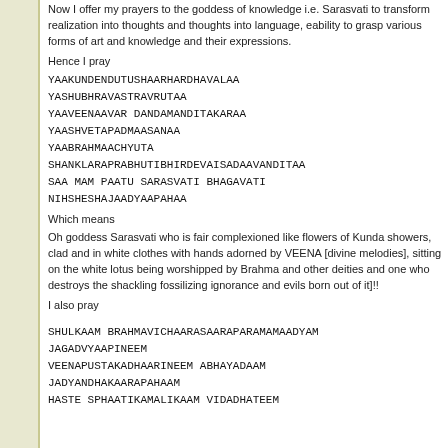Now I offer my prayers to the goddess of knowledge i.e. Sarasvati to transform realization into thoughts and thoughts into language, ability to grasp various forms of art and knowledge and their expressions.
Hence I pray
YAAKUNDENDUTUSHAARHARDHAVALAA
YASHUBHRAVASTRAVRUTAA
YAAVEENAAVAR DANDAMANDITAKARAA
YAASHVETAPADMAASANAA
YAABRAHMAACHYUTA
SHANKLARAPRABHUTIBHIRDEVAISADAAVANDITAA
SAA MAM PAATU SARASVATI BHAGAVATI
NIHSHESHAJAADYAAPAHAA
Which means
Oh goddess Sarasvati who is fair complexioned like flowers of K showers, clad and in white clothes with hands adorned by VEEN divine melodies], sitting on the white lotus being worshipped by other deities and one who destroys the shackling fossilizing igno and evils born out of it]!!
I also pray
SHULKAAM BRAHMAVICHAARASAARAPARAMAMAADYAM
JAGADVYAAPIINEEM
VEENAPUSTAKADHAARINEEM ABHAYADAAM
JADYANDHAKAARAPAHAAM
HASTE SPHAATIKAMALIKAAM VIDADHATEEM